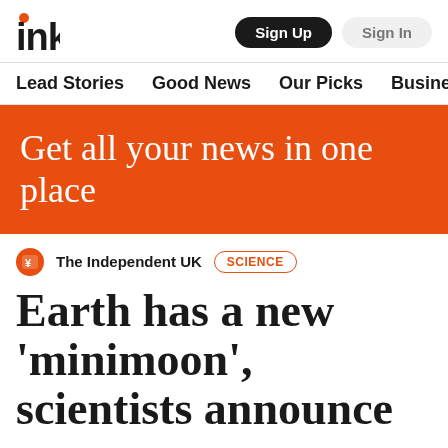inkl — Sign Up  Sign In
Lead Stories  Good News  Our Picks  Business  A
[Figure (infographic): Orange banner with white serif text: 'Get all your news in one place']
The Independent UK  SCIENCE
Earth has a new 'minimoon', scientists announce